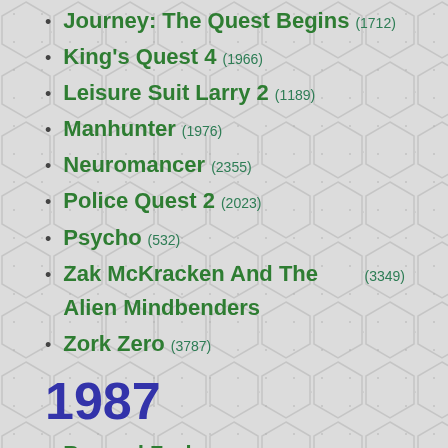Journey: The Quest Begins (1712)
King's Quest 4 (1966)
Leisure Suit Larry 2 (1189)
Manhunter (1976)
Neuromancer (2355)
Police Quest 2 (2023)
Psycho (532)
Zak McKracken And The Alien Mindbenders (3349)
Zork Zero (3787)
1987
Beyond Zork (2381)
Border Zone (711)
Bureaucracy (1880)
Fool's Errand, The (2913)
Leisure Suit Larry (949)
Lurking Horror, The (1225)